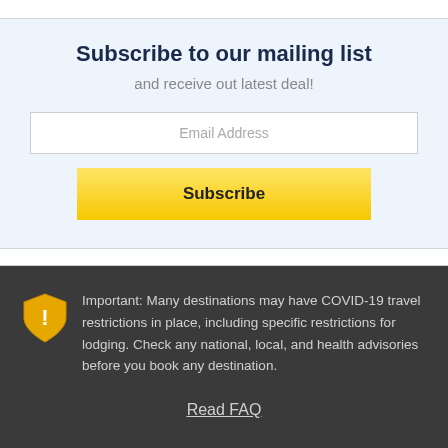Subscribe to our mailing list
and receive out latest deal!
Email Address
Subscribe
Important: Many destinations may have COVID-19 travel restrictions in place, including specific restrictions for lodging. Check any national, local, and health advisories before you book any destination.
Read FAQ